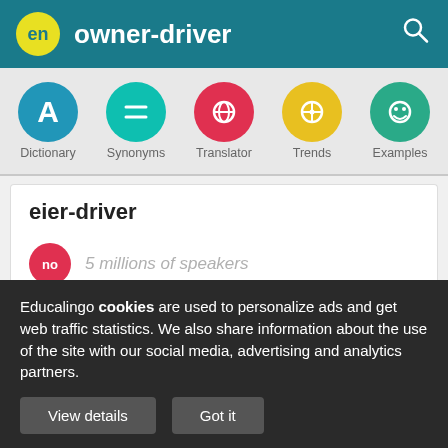en owner-driver
[Figure (screenshot): Navigation bar with Dictionary, Synonyms, Translator, Trends, Examples icons]
eier-driver
no 5 millions of speakers
[Figure (infographic): Social share icons: Facebook, Twitter, Pinterest, WhatsApp]
Educalingo cookies are used to personalize ads and get web traffic statistics. We also share information about the use of the site with our social media, advertising and analytics partners.
View details  Got it